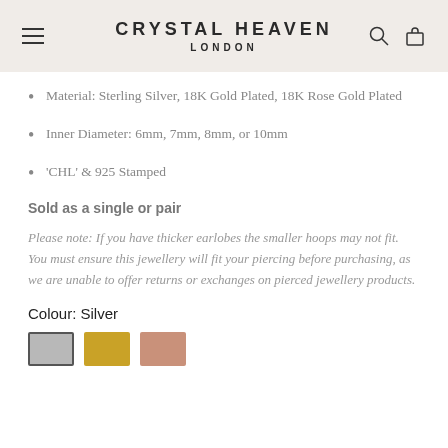CRYSTAL HEAVEN LONDON
Material: Sterling Silver, 18K Gold Plated, 18K Rose Gold Plated
Inner Diameter: 6mm, 7mm, 8mm, or 10mm
'CHL' & 925 Stamped
Sold as a single or pair
Please note: If you have thicker earlobes the smaller hoops may not fit. You must ensure this jewellery will fit your piercing before purchasing, as we are unable to offer returns or exchanges on pierced jewellery products.
Colour: Silver